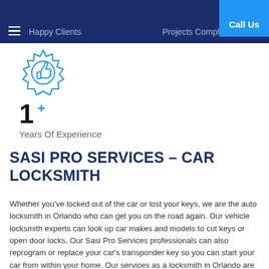Happy Clients   Projects Completed   Call Us
[Figure (illustration): Blue thumbs-up badge/seal icon]
1 +
Years Of Experience
SASI PRO SERVICES – CAR LOCKSMITH
Whether you've locked out of the car or lost your keys, we are the auto locksmith in Orlando who can get you on the road again. Our vehicle locksmith experts can look up car makes and models to cut keys or open door locks. Our Sasi Pro Services professionals can also reprogram or replace your car's transponder key so you can start your car from within your home. Our services as a locksmith in Orlando are available 24 hours a day. We are the locksmith car